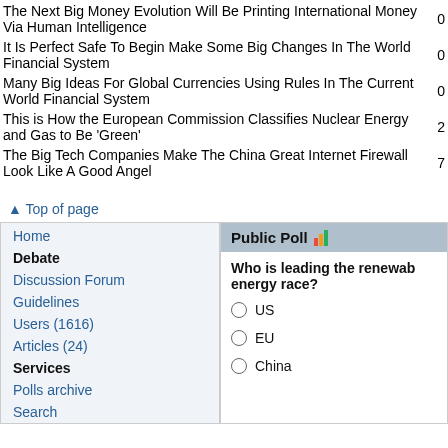|  |  |
| --- | --- |
| The Next Big Money Evolution Will Be Printing International Money Via Human Intelligence | 0 |
| It Is Perfect Safe To Begin Make Some Big Changes In The World Financial System | 0 |
| Many Big Ideas For Global Currencies Using Rules In The Current World Financial System | 0 |
| This is How the European Commission Classifies Nuclear Energy and Gas to Be 'Green' | 2 |
| The Big Tech Companies Make The China Great Internet Firewall Look Like A Good Angel | 7 |
▲ Top of page
Home
Debate
Discussion Forum
Guidelines
Users (1616)
Articles (24)
Services
Polls archive
Search
Public Poll
Who is leading the renewable energy race?
US
EU
China